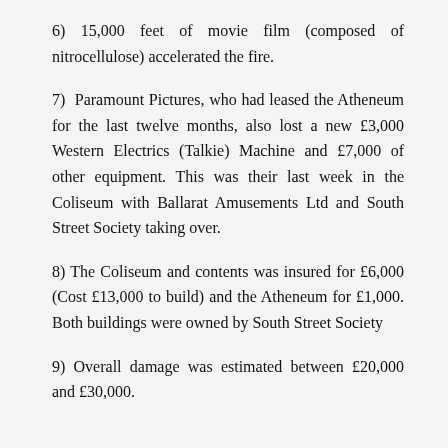6) 15,000 feet of movie film (composed of nitrocellulose) accelerated the fire.
7) Paramount Pictures, who had leased the Atheneum for the last twelve months, also lost a new £3,000 Western Electrics (Talkie) Machine and £7,000 of other equipment. This was their last week in the Coliseum with Ballarat Amusements Ltd and South Street Society taking over.
8) The Coliseum and contents was insured for £6,000 (Cost £13,000 to build) and the Atheneum for £1,000. Both buildings were owned by South Street Society
9) Overall damage was estimated between £20,000 and £30,000.